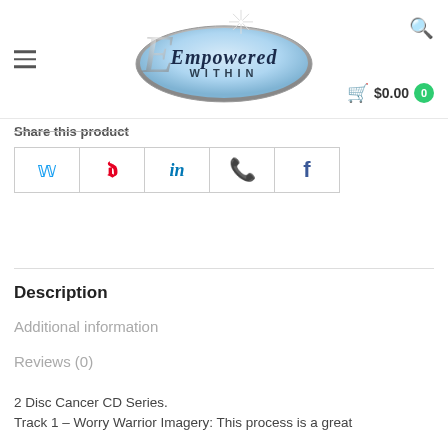[Figure (logo): Empowered Within logo — silvery italic script lettering with a blue oval background and a starburst above the E]
Share this product
[Figure (infographic): Row of social share buttons: Twitter (blue bird), Pinterest (red P), LinkedIn (blue in), WhatsApp (green phone), Facebook (blue f)]
Description
Additional information
Reviews (0)
2 Disc Cancer CD Series.
Track 1 – Worry Warrior Imagery: This process is a great